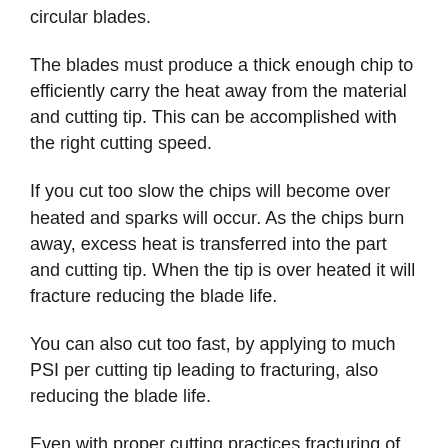circular blades.
The blades must produce a thick enough chip to efficiently carry the heat away from the material and cutting tip. This can be accomplished with the right cutting speed.
If you cut too slow the chips will become over heated and sparks will occur. As the chips burn away, excess heat is transferred into the part and cutting tip. When the tip is over heated it will fracture reducing the blade life.
You can also cut too fast, by applying to much PSI per cutting tip leading to fracturing, also reducing the blade life.
Even with proper cutting practices fracturing of the teeth will occur as the blade wears. The goal is to keep the fracturing down to a minimum to produce maximum blade life.